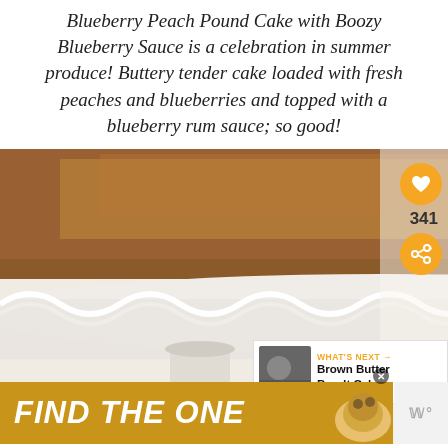Blueberry Peach Pound Cake with Boozy Blueberry Sauce is a celebration in summer produce! Buttery tender cake loaded with fresh peaches and blueberries and topped with a blueberry rum sauce; so good!
[Figure (photo): Close-up photo of a blueberry peach pound cake on a white ruffled cake stand, with fresh blueberries visible at the bottom. A heart/like button showing 341, a share button, and a 'What's Next' panel showing Brown Butter Bundt Cake are overlaid on the right side. An advertisement banner reading 'FIND THE ONE' with a dog image appears at the bottom.]